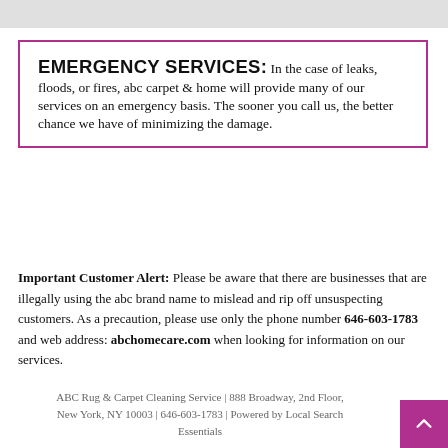EMERGENCY SERVICES: In the case of leaks, floods, or fires, abc carpet & home will provide many of our services on an emergency basis. The sooner you call us, the better chance we have of minimizing the damage.
Important Customer Alert: Please be aware that there are businesses that are illegally using the abc brand name to mislead and rip off unsuspecting customers. As a precaution, please use only the phone number 646-603-1783 and web address: abchomecare.com when looking for information on our services.
ABC Rug & Carpet Cleaning Service | 888 Broadway, 2nd Floor, New York, NY 10003 | 646-603-1783 | Powered by Local Search Essentials